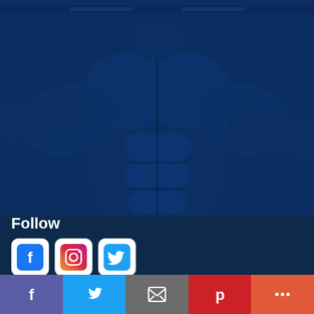[Figure (photo): A muscular male torso performing a pull-up or wide-grip exercise, photographed with a blue overlay/tint filter. The image shows defined chest and abdominal muscles against a dark blue background.]
Follow
[Figure (infographic): Row of social media icon buttons: Facebook (white/blue rounded square), Instagram (gradient rounded square), Twitter (blue rounded square)]
[Figure (infographic): Share bar at the bottom with 5 buttons: Facebook (purple), Twitter (blue), Email (grey), Pinterest (red), More (orange-red)]